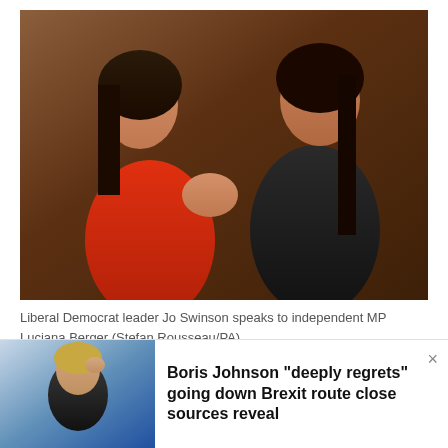[Figure (photo): Liberal Democrat leader Jo Swinson (in red dress) speaks to independent MP Luciana Berger (in black) in what appears to be a wood-panelled room. They are facing each other in conversation.]
Liberal Democrat leader Jo Swinson speaks to independent MP Luciana Berger (Stefan Rousseau/PA)
“The challenge at the moment is the hint of
[Figure (photo): Man in dark suit scratching his head, standing in front of a blue background]
Boris Johnson “deeply regrets” going down Brexit route close sources reveal